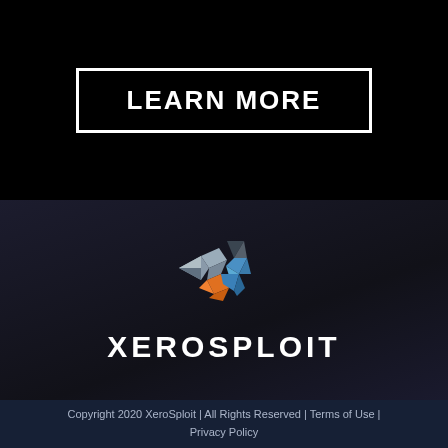LEARN MORE
[Figure (logo): XeroSploit geometric X logo made of angular polygon shapes in blue, gray, and orange colors]
XEROSPLOIT
Copyright 2020 XeroSploit | All Rights Reserved | Terms of Use | Privacy Policy